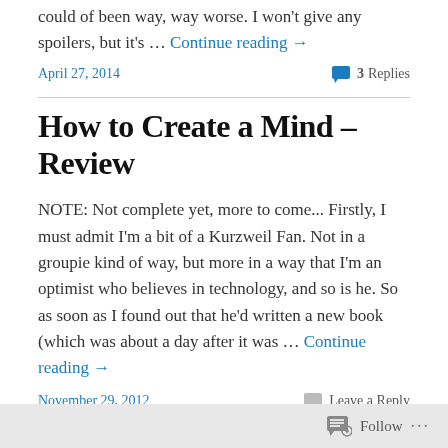could of been way, way worse. I won't give any spoilers, but it's … Continue reading →
April 27, 2014
3 Replies
How to Create a Mind – Review
NOTE: Not complete yet, more to come... Firstly, I must admit I'm a bit of a Kurzweil Fan. Not in a groupie kind of way, but more in a way that I'm an optimist who believes in technology, and so is he. So as soon as I found out that he'd written a new book (which was about a day after it was … Continue reading →
November 29, 2012
Leave a Reply
Follow …